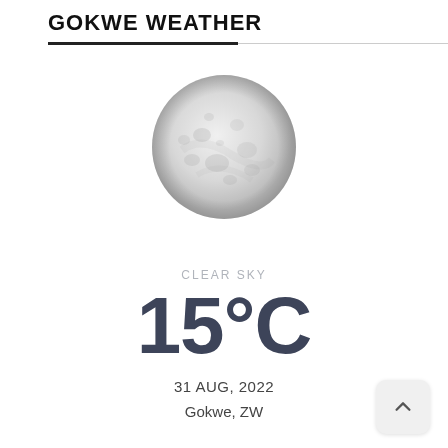GOKWE WEATHER
[Figure (illustration): Full moon illustration with gray surface details on a white background]
CLEAR SKY
15°C
31 AUG, 2022
Gokwe, ZW